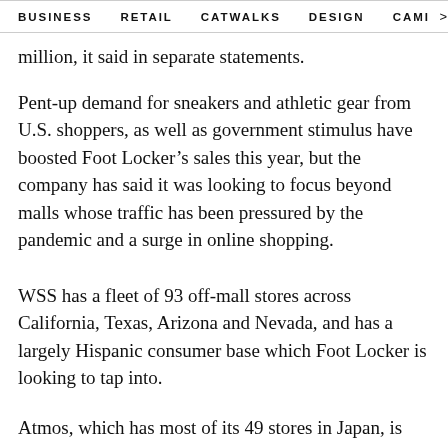BUSINESS   RETAIL   CATWALKS   DESIGN   CAMI   >
million, it said in separate statements.
Pent-up demand for sneakers and athletic gear from U.S. shoppers, as well as government stimulus have boosted Foot Locker’s sales this year, but the company has said it was looking to focus beyond malls whose traffic has been pressured by the pandemic and a surge in online shopping.
WSS has a fleet of 93 off-mall stores across California, Texas, Arizona and Nevada, and has a largely Hispanic consumer base which Foot Locker is looking to tap into.
Atmos, which has most of its 49 stores in Japan, is